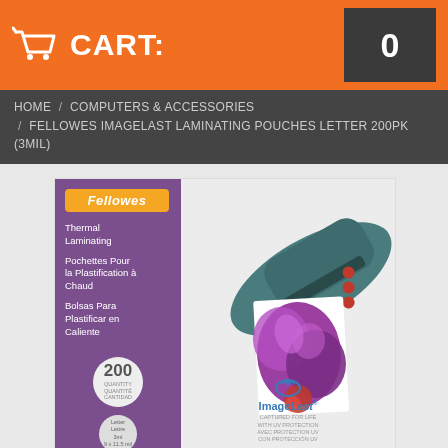[Figure (screenshot): Orange cart bar with shopping cart icon, CART: label, and count badge showing 0]
HOME / COMPUTERS & ACCESSORIES / FELLOWES IMAGELAST LAMINATING POUCHES LETTER 200PK (3MIL)
[Figure (photo): Product image of Fellowes ImageLast Laminating Pouches Letter 200pk (3mil) box, purple panel on left with Fellowes badge, thermal laminating text in English, French, and Spanish, circles showing 200 quantity and 3mil thickness, and a laminator machine with purple orchid flower photo on the right side]